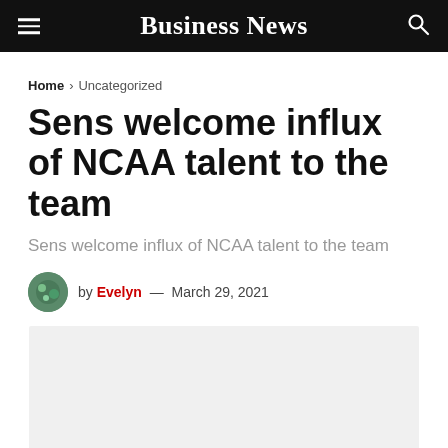Business News
Home > Uncategorized
Sens welcome influx of NCAA talent to the team
Sens welcome influx of NCAA talent to the team
by Evelyn — March 29, 2021
[Figure (photo): Article featured image placeholder (light gray box)]